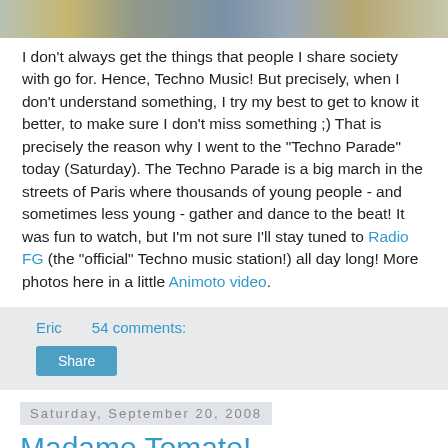[Figure (photo): Partial photo strip showing urban/Paris street scene with buildings]
I don't always get the things that people I share society with go for. Hence, Techno Music! But precisely, when I don't understand something, I try my best to get to know it better, to make sure I don't miss something ;) That is precisely the reason why I went to the "Techno Parade" today (Saturday). The Techno Parade is a big march in the streets of Paris where thousands of young people - and sometimes less young - gather and dance to the beat! It was fun to watch, but I'm not sure I'll stay tuned to Radio FG (the "official" Techno music station!) all day long! More photos here in a little Animoto video.
Eric    54 comments:
Share
Saturday, September 20, 2008
Madame Tomate!